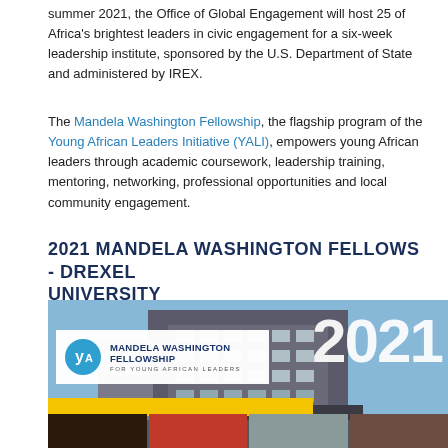summer 2021, the Office of Global Engagement will host 25 of Africa's brightest leaders in civic engagement for a six-week leadership institute, sponsored by the U.S. Department of State and administered by IREX.
The Mandela Washington Fellowship, the flagship program of the Young African Leaders Initiative (YALI), empowers young African leaders through academic coursework, leadership training, mentoring, networking, professional opportunities and local community engagement.
2021 MANDELA WASHINGTON FELLOWS - DREXEL UNIVERSITY
[Figure (photo): Mandela Washington Fellowship promotional image for 2021 showing a building in the background, the Mandela Washington Fellowship logo on a white panel, large '2021' text, a yellow bar, and a row of portrait photos of fellows at the bottom.]